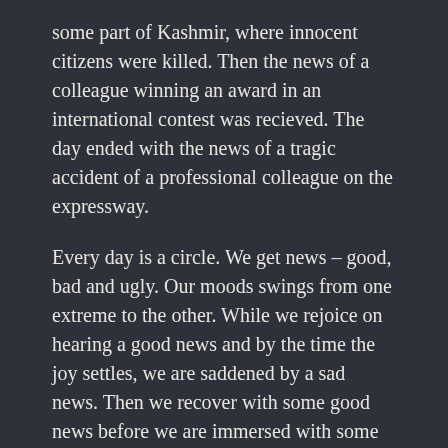some part of Kashmir, where innocent citizens were killed. Then the news of a colleague winning an award in an international contest was recieved. The day ended with the news of a tragic accident of a professional colleague on the expressway.
Every day is a circle. We get news – good, bad and ugly. Our moods swings from one extreme to the other. While we rejoice on hearing a good news and by the time the joy settles, we are saddened by a sad news. Then we recover with some good news before we are immersed with some tragic news.
How do we cope with this ? Is life also like a circle ? May be true. If we reflect on life, we realize that it is true. We have moments of joy in life and want those moments to last forever but very soon we are drowned in sorrow. Before we recover, we are again